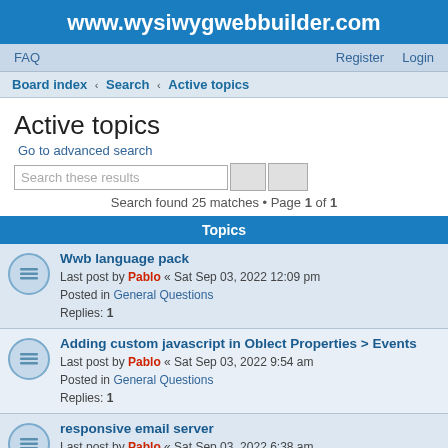www.wysiwygwebbuilder.com
FAQ    Register    Login
Board index < Search < Active topics
Active topics
Go to advanced search
Search these results
Search found 25 matches • Page 1 of 1
Topics
Wwb language pack
Last post by Pablo « Sat Sep 03, 2022 12:09 pm
Posted in General Questions
Replies: 1
Adding custom javascript in Oblect Properties > Events
Last post by Pablo « Sat Sep 03, 2022 9:54 am
Posted in General Questions
Replies: 1
responsive email server
Last post by Pablo « Sat Sep 03, 2022 6:38 am
Posted in Off Topic Section
Replies: 1
Toolbox bitmap on Extension Builder 7.1